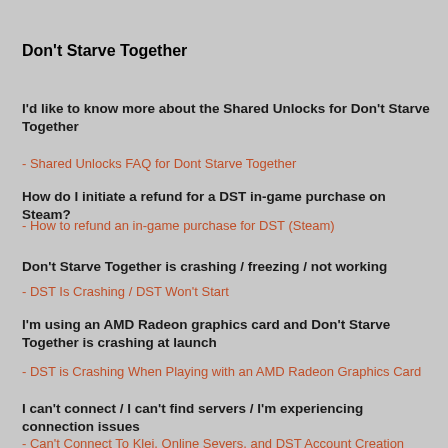Don't Starve Together
I'd like to know more about the Shared Unlocks for Don't Starve Together
- Shared Unlocks FAQ for Dont Starve Together
How do I initiate a refund for a DST in-game purchase on Steam?
- How to refund an in-game purchase for DST (Steam)
Don't Starve Together is crashing / freezing / not working
- DST Is Crashing / DST Won't Start
I'm using an AMD Radeon graphics card and Don't Starve Together is crashing at launch
- DST is Crashing When Playing with an AMD Radeon Graphics Card
I can't connect / I can't find servers / I'm experiencing connection issues
- Can't Connect To Klei, Online Severs, and DST Account Creation